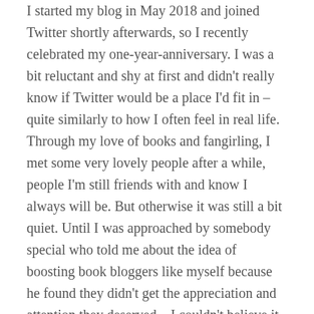I started my blog in May 2018 and joined Twitter shortly afterwards, so I recently celebrated my one-year-anniversary. I was a bit reluctant and shy at first and didn't really know if Twitter would be a place I'd fit in – quite similarly to how I often feel in real life. Through my love of books and fangirling, I met some very lovely people after a while, people I'm still friends with and know I always will be. But otherwise it was still a bit quiet. Until I was approached by somebody special who told me about the idea of boosting book bloggers like myself because he found they didn't get the appreciation and attention they deserved – I couldn't believe it. The Write Reads is probably the most selfless